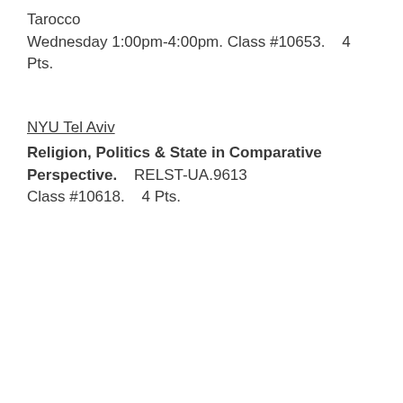Tarocco
Wednesday 1:00pm-4:00pm. Class #10653.    4 Pts.
NYU Tel Aviv
Religion, Politics & State in Comparative Perspective.    RELST-UA.9613
Class #10618.    4 Pts.